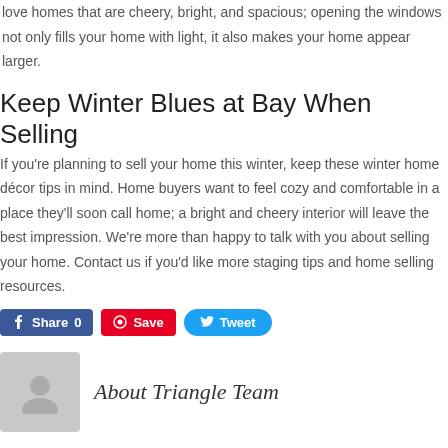love homes that are cheery, bright, and spacious; opening the windows not only fills your home with light, it also makes your home appear larger.
Keep Winter Blues at Bay When Selling
If you're planning to sell your home this winter, keep these winter home décor tips in mind. Home buyers want to feel cozy and comfortable in a place they'll soon call home; a bright and cheery interior will leave the best impression. We're more than happy to talk with you about selling your home. Contact us if you'd like more staging tips and home selling resources.
[Figure (infographic): Social sharing buttons: Facebook Share 0, Pinterest Save, Twitter Tweet]
About Triangle Team